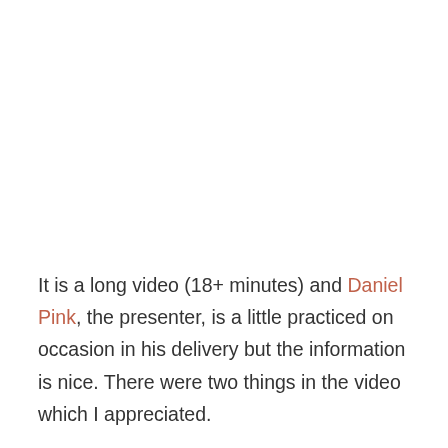It is a long video (18+ minutes) and Daniel Pink, the presenter, is a little practiced on occasion in his delivery but the information is nice. There were two things in the video which I appreciated.